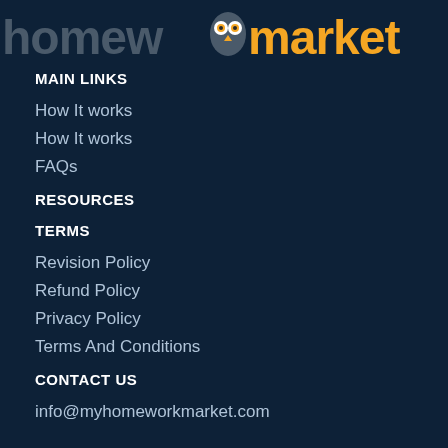[Figure (logo): HomeworkMarket logo with owl icon — 'homework' in dark gray, owl icon in orange/white, 'market' in orange]
MAIN LINKS
How It works
How It works
FAQs
RESOURCES
TERMS
Revision Policy
Refund Policy
Privacy Policy
Terms And Conditions
CONTACT US
info@myhomeworkmarket.com